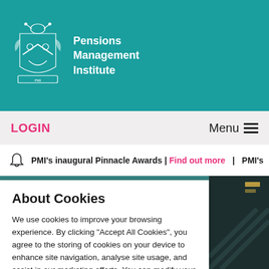[Figure (logo): Pensions Management Institute coat of arms logo in white outline on teal background]
Pensions Management Institute
LOGIN
Menu
PMI's inaugural Pinnacle Awards | Find out more | PMI's
About Cookies
We use cookies to improve your browsing experience. By clicking “Accept All Cookies”, you agree to the storing of cookies on your device to enhance site navigation, analyse site usage, and assist in our marketing efforts. You can modify your cookie preferences by clicking on cookie settings within our Cookie Policy.